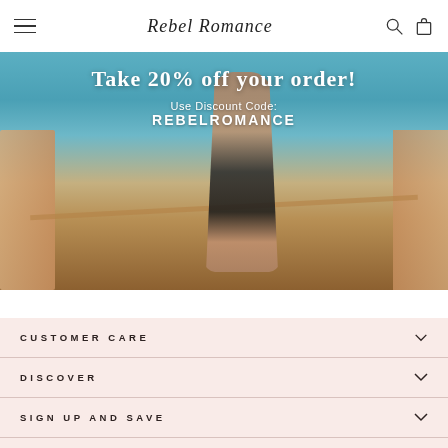Rebel Romance
[Figure (photo): A woman in black lingerie standing on outdoor stone terrace steps near the sea. Promotional banner overlay reads: Take 20% off your order! Use Discount Code: REBELROMANCE]
CUSTOMER CARE
DISCOVER
SIGN UP AND SAVE
© 2022 Rebel Romance